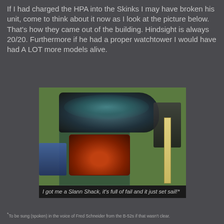If I had charged the HPA into the Skinks I may have broken his unit, come to think about it now as I look at the picture below.  That's how they came out of the building.  Hindsight is always 20/20.  Furthermore if he had a proper watchtower I would have had A LOT more models alive.
[Figure (photo): Wargaming miniatures on a green board showing blue-teal army units, a war machine (Slann Shack) on a cutting mat, a ruler, and dark units. Caption reads: I got me a Slann Shack, it's full of fail and it just set sail!*]
*To be sung (spoken) in the voice of Fred Schneider from the B-52s if that wasn't clear.